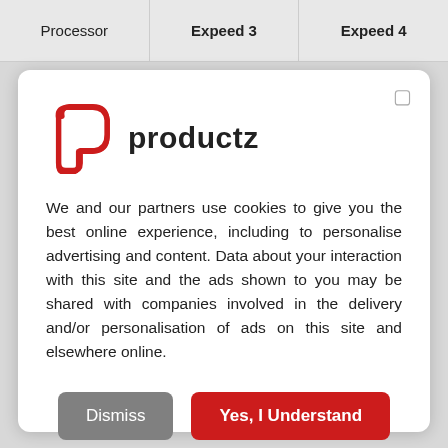| Processor | Expeed 3 | Expeed 4 |
| --- | --- | --- |
[Figure (logo): Productz logo: red stylized P icon followed by 'productz' in dark text]
We and our partners use cookies to give you the best online experience, including to personalise advertising and content. Data about your interaction with this site and the ads shown to you may be shared with companies involved in the delivery and/or personalisation of ads on this site and elsewhere online.
Dismiss   Yes, I Understand